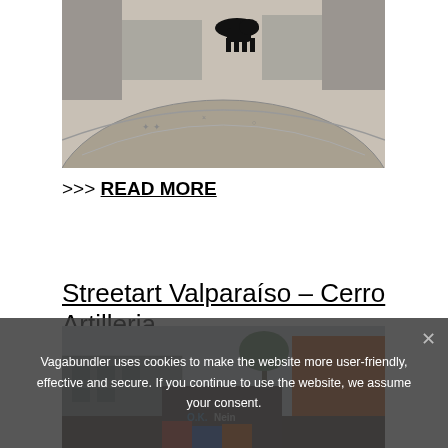[Figure (photo): Street photo showing a black dog walking on a curved stone/concrete surface with graffiti markings, fisheye lens effect]
>>> READ MORE
Streetart Valparaíso – Cerro Artilleria
[Figure (photo): Street scene in Valparaíso showing colorful buildings, street art including 'O.K. Nein' text, viewed with wide angle, partially obscured by cookie consent overlay]
Vagabundler uses cookies to make the website more user-friendly, effective and secure. If you continue to use the website, we assume your consent.